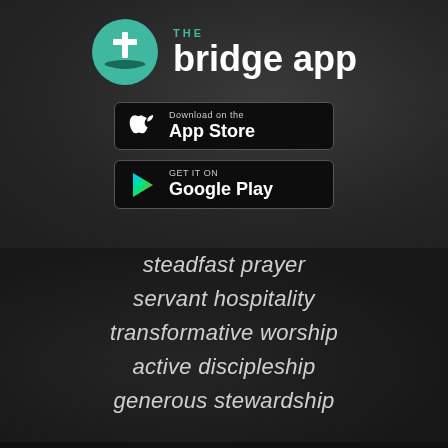[Figure (logo): The Bridge App logo: teal circle with a cross and horizon line icon, with 'THE' in small teal letters above 'bridge app' in large white bold text]
[Figure (screenshot): Download on the App Store button - black rounded rectangle with Apple logo and text]
[Figure (screenshot): Get it on Google Play button - black rounded rectangle with Google Play triangle logo and text]
steadfast prayer
servant hospitality
transformative worship
active discipleship
generous stewardship
Design by Kade Creative  |  Web Development by Simplicate